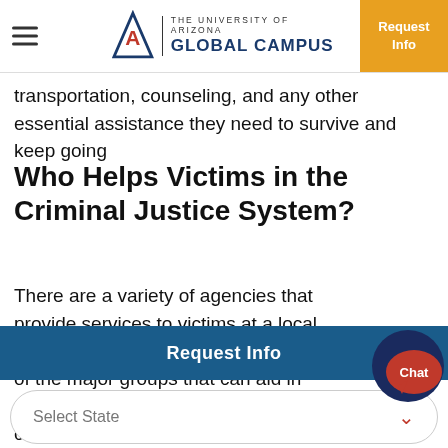THE UNIVERSITY OF ARIZONA GLOBAL CAMPUS | Request Info
transportation, counseling, and any other essential assistance they need to survive and keep going
Who Helps Victims in the Criminal Justice System?
There are a variety of agencies that provide services to victims at a local, state, and federal level. Here are a few of the major groups that can aid in connecting victims to trauma services, compensation, and
[Figure (screenshot): Chat button widget — circular dark navy button with red speech bubble icon and 'Chat' label]
Request Info
Select State